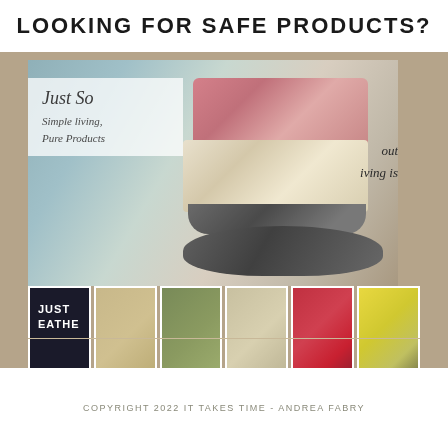LOOKING FOR SAFE PRODUCTS?
[Figure (photo): Collage photo showing stacked natural soap bars on river rocks with water in background, overlaid with 'Just So / Simple living, Pure Products' text box, and a row of food/lifestyle thumbnail photos at bottom including a 'JUST BREATHE' sign, food dishes, bread, cranberries, and olive oil]
COPYRIGHT 2022 IT TAKES TIME - ANDREA FABRY